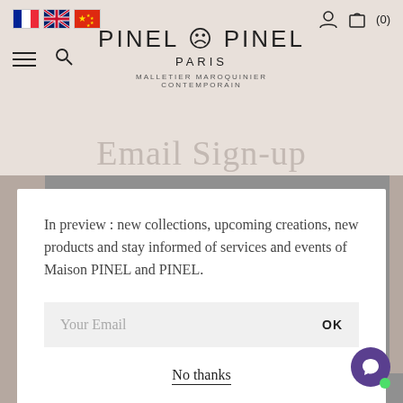[Figure (screenshot): Website header with French, UK, Chinese flags, hamburger menu, search icon, Pinel & Pinel Paris logo, user icon, and bag icon with (0) count]
Email Sign-up
In preview : new collections, upcoming creations, new products and stay informed of services and events of Maison PINEL and PINEL.
Your Email
OK
No thanks
CONTINUE